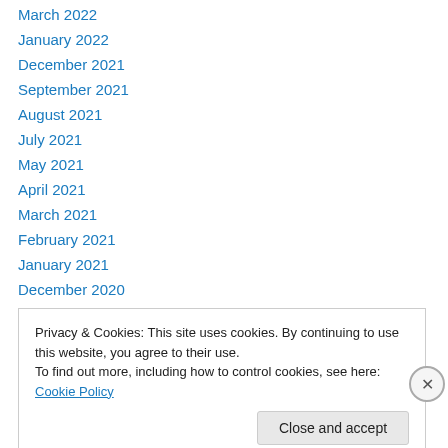March 2022
January 2022
December 2021
September 2021
August 2021
July 2021
May 2021
April 2021
March 2021
February 2021
January 2021
December 2020
November 2020
Privacy & Cookies: This site uses cookies. By continuing to use this website, you agree to their use.
To find out more, including how to control cookies, see here: Cookie Policy
Close and accept